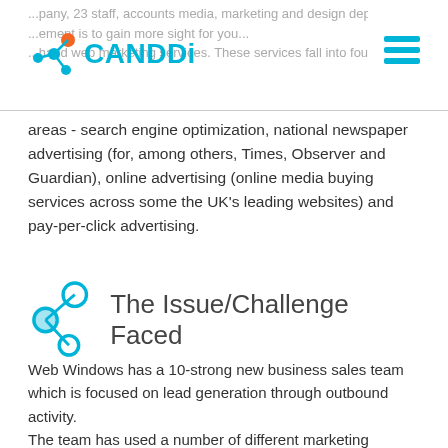CANDDi logo and navigation header
areas - search engine optimization, national newspaper advertising (for, among others, Times, Observer and Guardian), online advertising (online media buying services across some the UK’s leading websites) and pay-per-click advertising.
The Issue/Challenge Faced
Web Windows has a 10-strong new business sales team which is focused on lead generation through outbound activity. The team has used a number of different marketing automation software products in the past but they needed a solution which would provide an extra level of functionality beyond website visitor tracking.